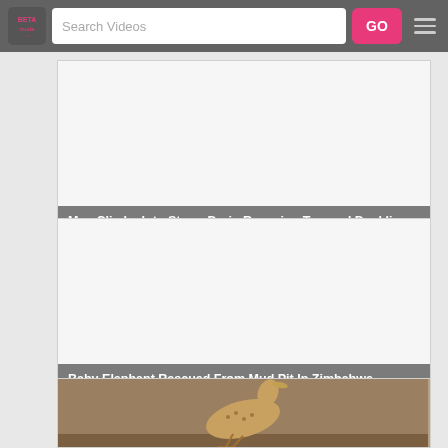BETA | Search Videos | GO
[Figure (screenshot): Video thumbnail placeholder (white/light gray area) for storm drain duckling rescue video]
Man Climbs Into Storm Drain Rescuing Trapped Ducklings
[Figure (screenshot): Video thumbnail placeholder (white/light gray area) for elephant rescue video]
Baby Elephant Rescued From Mud Pit In Zimbabwe
[Figure (photo): Partial photo of a bird (brownish, lying on ground) — bottom of page, cropped]